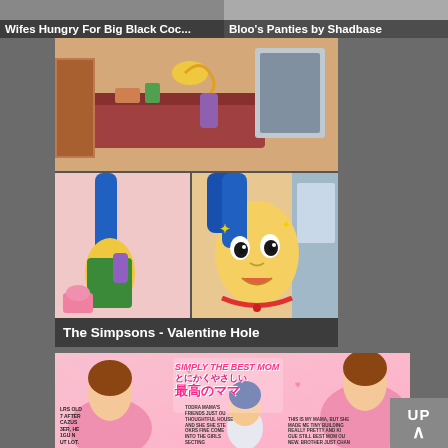Wifes Hungry For Big Black Coc...
Bloo's Panties by Shadbase
[Figure (illustration): The Simpsons fan comic panels showing cartoon characters in two panels]
The Simpsons - Valentine Hole
[Figure (illustration): Manga-style cover art titled 'SIMPLY THE BEST MOM' with Japanese text 'とにかくやさしい 最高のママ', showing anime-style characters in pink setting]